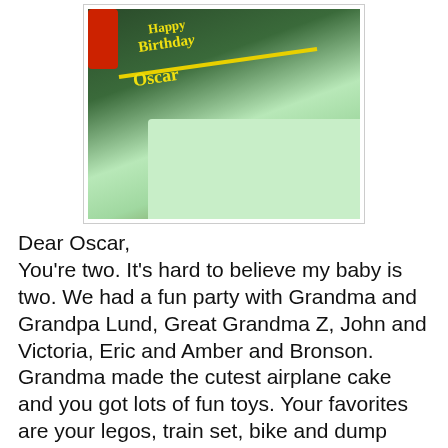[Figure (photo): Birthday cake photo with 'Happy Birthday Oscar' written in yellow frosting on a dark green cake, with light green shredded coconut frosting, and a red object in the upper left corner.]
Dear Oscar,
You're two. It's hard to believe my baby is two. We had a fun party with Grandma and Grandpa Lund, Great Grandma Z, John and Victoria, Eric and Amber and Bronson. Grandma made the cutest airplane cake and you got lots of fun toys. Your favorites are your legos, train set, bike and dump truck.
Youv been talking a lot more lately. When you see letters you say, "E, E, E, E." If we catch you in the right mood you'll repeat letters when we say them. You like to count. "Doo, Eee, Doo, Eee." When you say words it's usually the end of the word like "oat" for coat. My favorite is when you yell, "Ate! Meeee!"